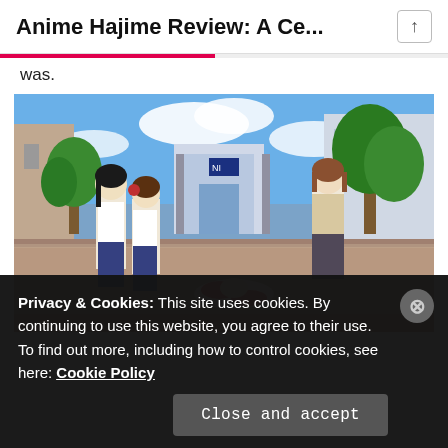Anime Hajime Review: A Ce...
was.
[Figure (screenshot): Anime scene showing three female high school students in school uniforms on a street, with a fourth character lying on the ground with long red hair. Urban background with trees and a building gate.]
Privacy & Cookies: This site uses cookies. By continuing to use this website, you agree to their use.
To find out more, including how to control cookies, see here: Cookie Policy
Close and accept